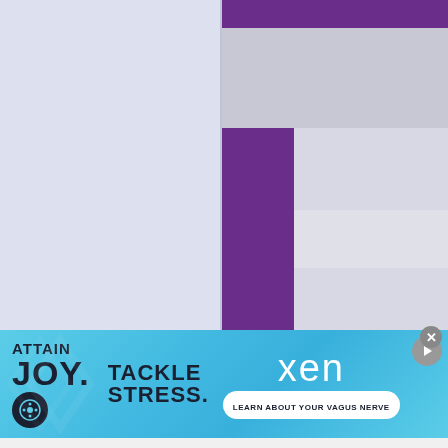[Figure (screenshot): Web page screenshot showing a numbered entry (18) with 'Photo Not Available (contribution appreciated)' placeholder in a purple-themed layout with a left sidebar]
[Figure (screenshot): Advertisement banner: 'ATTAIN JOY. TACKLE STRESS. xen LEARN ABOUT YOUR VAGUS NERVE']